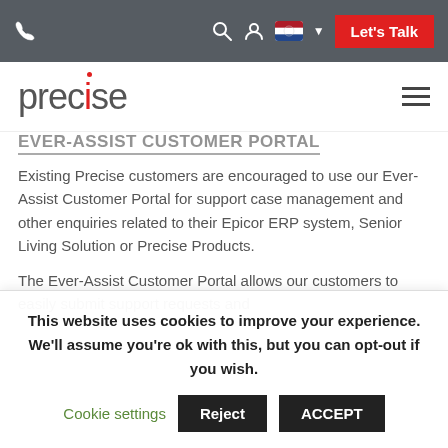Precise website header navigation with phone icon, search, user, Dutch flag, Let's Talk button, Precise logo, and hamburger menu
EVER-ASSIST CUSTOMER PORTAL
Existing Precise customers are encouraged to use our Ever-Assist Customer Portal for support case management and other enquiries related to their Epicor ERP system, Senior Living Solution or Precise Products.
The Ever-Assist Customer Portal allows our customers to easily submit support requests and
This website uses cookies to improve your experience. We'll assume you're ok with this, but you can opt-out if you wish.
Cookie settings | Reject | ACCEPT